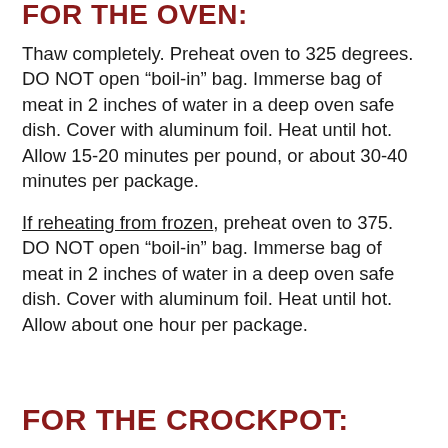FOR THE OVEN:
Thaw completely. Preheat oven to 325 degrees. DO NOT open “boil-in” bag. Immerse bag of meat in 2 inches of water in a deep oven safe dish. Cover with aluminum foil. Heat until hot. Allow 15-20 minutes per pound, or about 30-40 minutes per package.
If reheating from frozen, preheat oven to 375. DO NOT open “boil-in” bag. Immerse bag of meat in 2 inches of water in a deep oven safe dish. Cover with aluminum foil. Heat until hot. Allow about one hour per package.
FOR THE CROCKPOT: